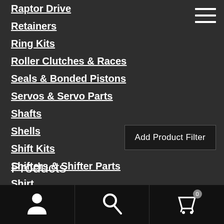Raptor Drive
Retainers
Ring Kits
Roller Clutches & Races
Seals & Bonded Pistons
Servos & Servo Parts
Shafts
Shells
Shift Kits
Shifters & Shifter Parts
Shirt
Add Product Filter
Products
User | Search | Cart (0)